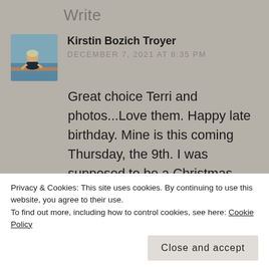Write
[Figure (photo): Small avatar photo of a person sitting outdoors near water]
Kirstin Bozich Troyer
DECEMBER 7, 2021 AT 8:35 PM
Great choice Terri and photos...Love them. Happy late birthday. Mine is this coming Thursday, the 9th. I was supposed to be a Christmas baby.
Here's my link
Privacy & Cookies: This site uses cookies. By continuing to use this website, you agree to their use.
To find out more, including how to control cookies, see here: Cookie Policy